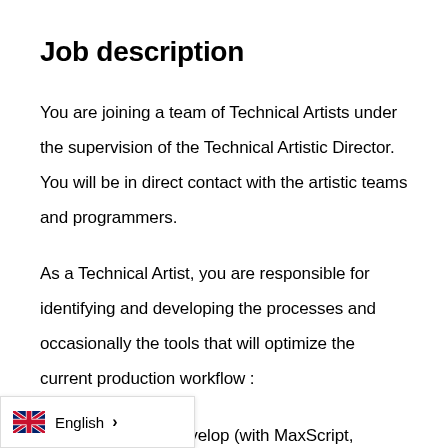Job description
You are joining a team of Technical Artists under the supervision of the Technical Artistic Director. You will be in direct contact with the artistic teams and programmers.
As a Technical Artist, you are responsible for identifying and developing the processes and occasionally the tools that will optimize the current production workflow :
Design and develop (with MaxScript, Python, etc.) effective tools with simple interfaces for production teams